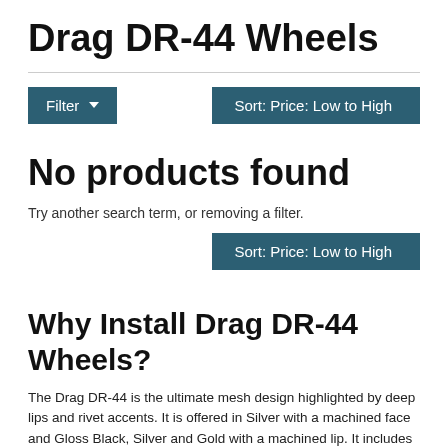Drag DR-44 Wheels
[Figure (screenshot): Filter button (teal/dark blue) and Sort: Price: Low to High dropdown button (teal/dark blue)]
No products found
Try another search term, or removing a filter.
[Figure (screenshot): Sort: Price: Low to High dropdown button (teal/dark blue) aligned to right]
Why Install Drag DR-44 Wheels?
The Drag DR-44 is the ultimate mesh design highlighted by deep lips and rivet accents. It is offered in Silver with a machined face and Gloss Black, Silver and Gold with a machined lip. It includes a center